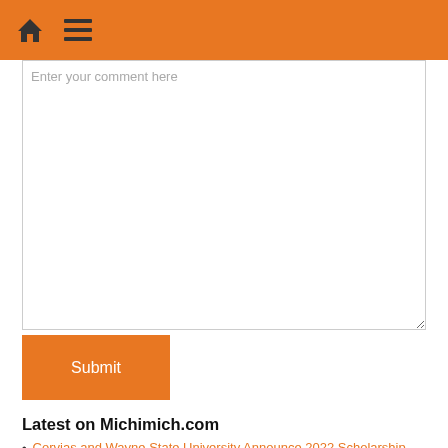Enter your comment here
Submit
Latest on Michimich.com
Corvias and Wayne State University Announce 2022 Scholarship Recipients
Sterling Heights: New Integrated Library System
Boom Boom Firearms Training LLC., Is Hosting Maryland Wear & Carry Permit (CCW) 16-Hour Courses For Eligible MD Residents & Non Residents
Improvement, data science pros to convene in Atlanta Sept. 19-